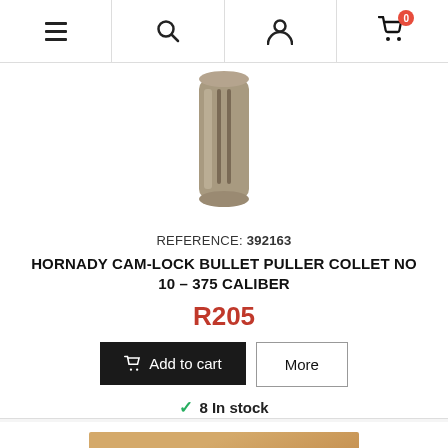Navigation bar with menu, search, account, and cart (0 items)
[Figure (photo): A cylindrical metal collet (bullet puller collet) in a grey/tan color, shown against a white background. The collet has vertical slots cut into it.]
REFERENCE: 392163
HORNADY CAM-LOCK BULLET PULLER COLLET NO 10 - 375 CALIBER
R205
Add to cart
More
8 In stock
[Figure (photo): Partial image at bottom of page showing a wooden surface with what appears to be a dark tool or firearm component.]